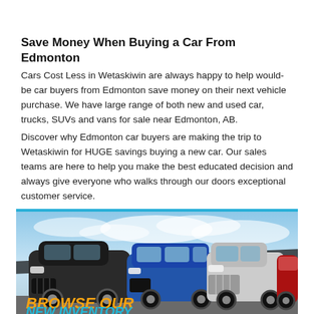Save Money When Buying a Car From Edmonton
Cars Cost Less in Wetaskiwin are always happy to help would-be car buyers from Edmonton save money on their next vehicle purchase. We have large range of both new and used car, trucks, SUVs and vans for sale near Edmonton, AB.
Discover why Edmonton car buyers are making the trip to Wetaskiwin for HUGE savings buying a new car. Our sales teams are here to help you make the best educated decision and always give everyone who walks through our doors exceptional customer service.
[Figure (photo): Photo of multiple vehicles (black SUV, blue minivan, silver truck, red SUV) parked in front of a dealership with a cloudy sky background. Overlaid bold italic text reads 'BROWSE OUR NEW INVENTORY' in orange and cyan colors, with a dark diagonal stripe across the image.]